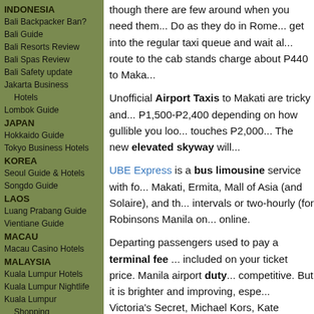INDONESIA
Bali Backpacker Ban?
Bali Guide
Bali Resorts Review
Bali Spas Review
Bali Safety update
Jakarta Business Hotels
Lombok Guide
JAPAN
Hokkaido Guide
Tokyo Business Hotels
KOREA
Seoul Guide & Hotels
Songdo Guide
LAOS
Luang Prabang Guide
Vientiane Guide
MACAU
Macau Casino Hotels
MALAYSIA
Kuala Lumpur Hotels
Kuala Lumpur Nightlife
Kuala Lumpur Shopping
Langkawi Resorts
Malaysia Spas
Penang Guide & Spas
Sabah Guide
Tioman Island Guide
MALDIVES
though there are few around when you need them... Do as they do in Rome... get into the regular taxi queue and wait abo... route to the cab stands charge about P440 to Maka...
Unofficial Airport Taxis to Makati are tricky and... P1,500-P2,400 depending on how gullible you loo... touches P2,000... The new elevated skyway will...
UBE Express is a bus limousine service with fo... Makati, Ermita, Mall of Asia (and Solaire), and th... intervals or two-hourly (for Robinsons Manila on... online.
Departing passengers used to pay a terminal fee... included on your ticket price. Manila airport duty... competitive. But it is brighter and improving, espe... Victoria's Secret, Michael Kors, Kate Spade, Tum...
Pick up a one litre duty-free Johnnie Walker Blac... priced a bit higher at US$38. Duty-free perfume a... 'Coco' 7.5ml parfum, and US$87 for a 50ml bott...